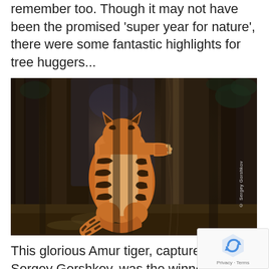remember too. Though it may not have been the promised 'super year for nature', there were some fantastic highlights for tree huggers...
[Figure (photo): A tiger (Amur tiger) hugging a large tree trunk in a forest. The tiger is photographed from behind, its orange and black striped body pressed against the dark bark of a massive tree. The forest background is dark with other trees visible. Photo credit: © Sergey Gorshkov]
This glorious Amur tiger, captured by Sergey Gorshkov, was the winner of last year's Wildlife